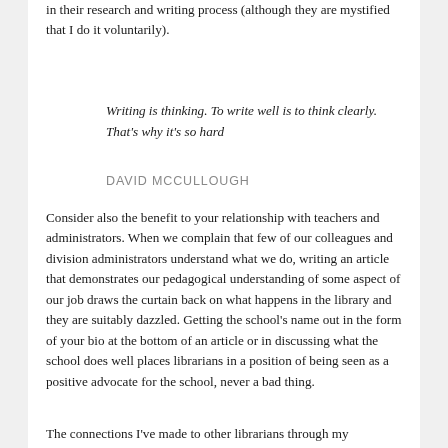in their research and writing process (although they are mystified that I do it voluntarily).
Writing is thinking. To write well is to think clearly. That's why it's so hard
DAVID MCCULLOUGH
Consider also the benefit to your relationship with teachers and administrators. When we complain that few of our colleagues and division administrators understand what we do, writing an article that demonstrates our pedagogical understanding of some aspect of our job draws the curtain back on what happens in the library and they are suitably dazzled. Getting the school's name out in the form of your bio at the bottom of an article or in discussing what the school does well places librarians in a position of being seen as a positive advocate for the school, never a bad thing.
The connections I've made to other librarians through my